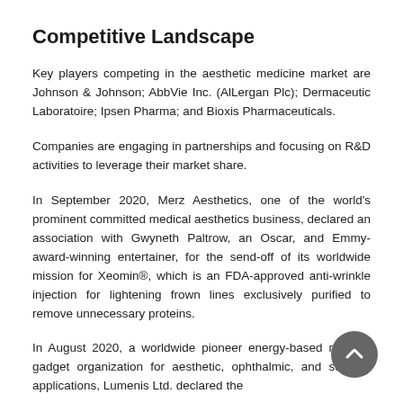Competitive Landscape
Key players competing in the aesthetic medicine market are Johnson & Johnson; AbbVie Inc. (AlLergan Plc); Dermaceutic Laboratoire; Ipsen Pharma; and Bioxis Pharmaceuticals.
Companies are engaging in partnerships and focusing on R&D activities to leverage their market share.
In September 2020, Merz Aesthetics, one of the world's prominent committed medical aesthetics business, declared an association with Gwyneth Paltrow, an Oscar, and Emmy-award-winning entertainer, for the send-off of its worldwide mission for Xeomin®, which is an FDA-approved anti-wrinkle injection for lightening frown lines exclusively purified to remove unnecessary proteins.
In August 2020, a worldwide pioneer energy-based medical gadget organization for aesthetic, ophthalmic, and surgical applications, Lumenis Ltd. declared the